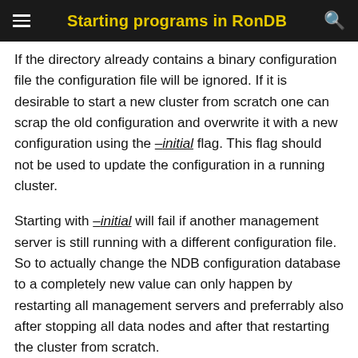Starting programs in RonDB
If the directory already contains a binary configuration file the configuration file will be ignored. If it is desirable to start a new cluster from scratch one can scrap the old configuration and overwrite it with a new configuration using the –initial flag. This flag should not be used to update the configuration in a running cluster.
Starting with –initial will fail if another management server is still running with a different configuration file. So to actually change the NDB configuration database to a completely new value can only happen by restarting all management servers and preferrably also after stopping all data nodes and after that restarting the cluster from scratch.
Restarting the ndb_mgmd